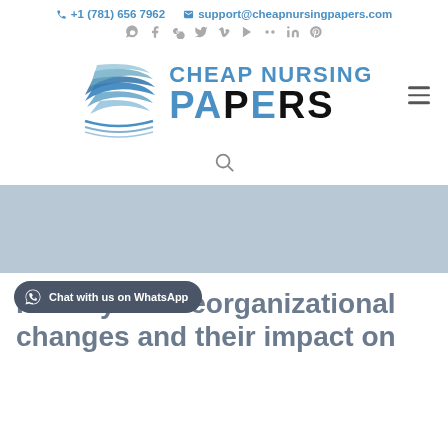+1 (781) 656 7962  support@cheapnursingpapers.com
[Figure (logo): Cheap Nursing Papers logo with stacked pages icon and text CHEAP NURSING PAPERS]
[Figure (illustration): Light blue-grey hero banner area]
[Figure (other): WhatsApp chat bubble: Chat with us on WhatsApp]
Identify two reorganizational changes and their impact on